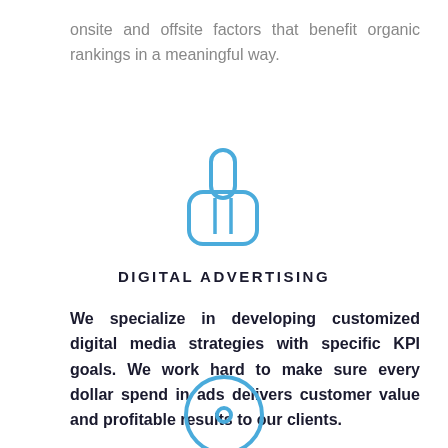onsite and offsite factors that benefit organic rankings in a meaningful way.
[Figure (illustration): Blue outline icon of a hand with index finger pointing upward (thumbs up / pointer icon)]
DIGITAL ADVERTISING
We specialize in developing customized digital media strategies with specific KPI goals. We work hard to make sure every dollar spend in ads delivers customer value and profitable results to our clients.
[Figure (illustration): Blue outline icon of a circle with a small dot in the center (target/bullseye icon, partially visible)]